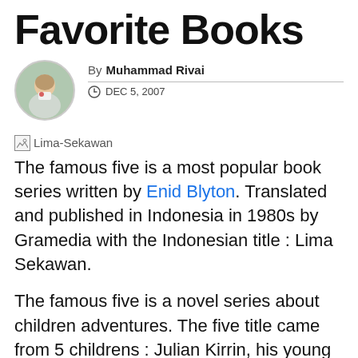Favorite Books
By Muhammad Rivai
DEC 5, 2007
[Figure (photo): Broken image placeholder labeled Lima-Sekawan]
The famous five is a most popular book series written by Enid Blyton. Translated and published in Indonesia in 1980s by Gramedia with the Indonesian title : Lima Sekawan.
The famous five is a novel series about children adventures. The five title came from 5 childrens : Julian Kirrin, his young brother Dick (Richard) Kirrin and young sister Anne Kirrin. The rest